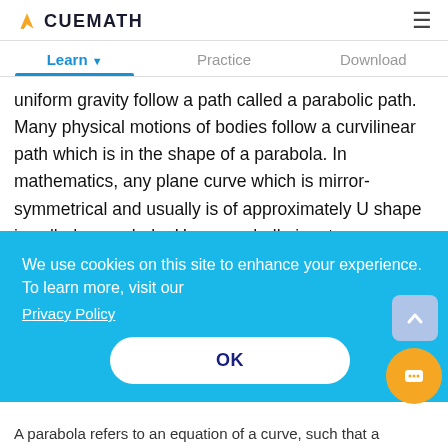CUEMATH
uniform gravity follow a path called a parabolic path. Many physical motions of bodies follow a curvilinear path which is in the shape of a parabola. In mathematics, any plane curve which is mirror-symmetrical and usually is of approximately U shape is called a parabola. Here we shall aim at understanding
We use cookies on this site to enhance your experience. To learn more, visit our Privacy Policy OK
A parabola refers to an equation of a curve, such that a